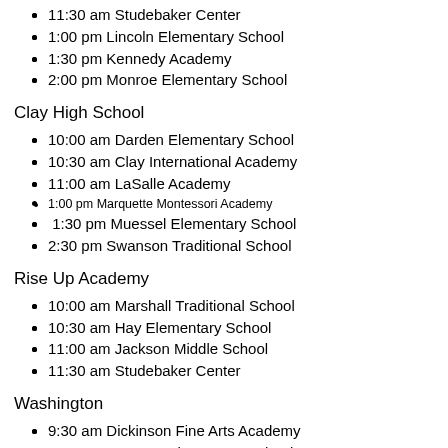11:30 am Studebaker Center
1:00 pm Lincoln Elementary School
1:30 pm Kennedy Academy
2:00 pm Monroe Elementary School
Clay High School
10:00 am Darden Elementary School
10:30 am Clay International Academy
11:00 am LaSalle Academy
1:00 pm Marquette Montessori Academy
1:30 pm Muessel Elementary School
2:30 pm Swanson Traditional School
Rise Up Academy
10:00 am Marshall Traditional School
10:30 am Hay Elementary School
11:00 am Jackson Middle School
11:30 am Studebaker Center
Washington
9:30 am Dickinson Fine Arts Academy
10:00 am Warren Elementary School